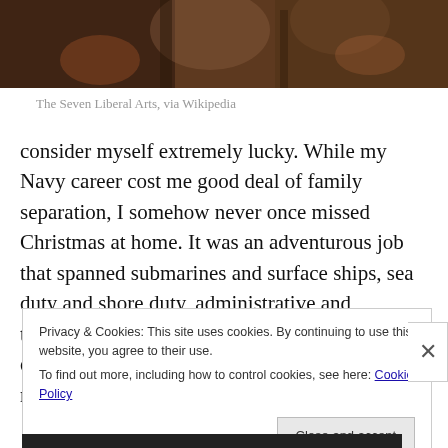[Figure (photo): Partial view of a painting depicting 'The Seven Liberal Arts', cropped at top showing figures in medieval/Renaissance style with dark background.]
The Seven Liberal Arts, via Wikipedia
consider myself extremely lucky. While my Navy career cost me good deal of family separation, I somehow never once missed Christmas at home. It was an adventurous job that spanned submarines and surface ships, sea duty and shore duty, administrative and technical work. It allowed us to live in seven different cities during my career and it allowed me the early retirement that enabled a
Privacy & Cookies: This site uses cookies. By continuing to use this website, you agree to their use.
To find out more, including how to control cookies, see here: Cookie Policy
Close and accept